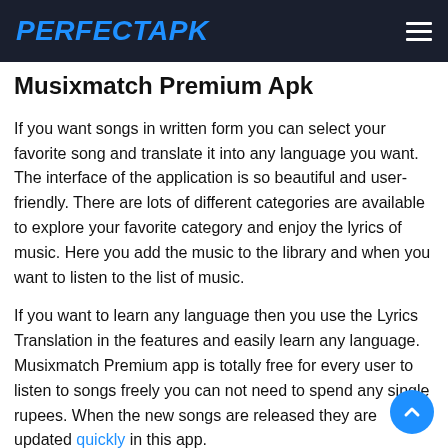PERFECTAPK
Musixmatch Premium Apk
If you want songs in written form you can select your favorite song and translate it into any language you want. The interface of the application is so beautiful and user-friendly. There are lots of different categories are available to explore your favorite category and enjoy the lyrics of music. Here you add the music to the library and when you want to listen to the list of music.
If you want to learn any language then you use the Lyrics Translation in the features and easily learn any language. Musixmatch Premium app is totally free for every user to listen to songs freely you can not need to spend any single rupees. When the new songs are released they are updated quickly in this app.